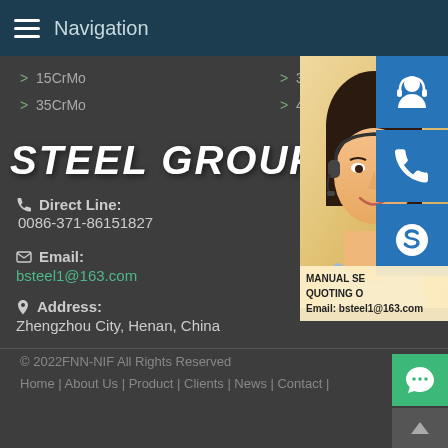Navigation
> 15CrMo
> 30CrMo
> 35CrMo
> 42CrMo
STEEL GROUP
Direct Line: 0086-371-86151827
Email: bsteel1@163.com
Address: Zhengzhou City, Henan, China
[Figure (photo): Customer service representative (woman with headset) overlaid with blue icon buttons for chat, phone, and Skype. Banner text reads: MANUAL SE... QUOTING O... Email: bsteel1@163.com]
© 2022FNN-NIF All Rights Reserved
Home | About Us | Product | Clients | News | Contact |